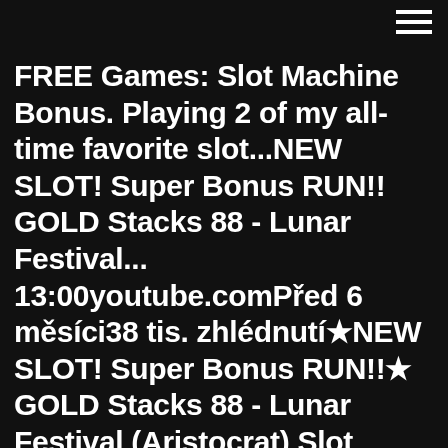[Figure (screenshot): Dark-themed mobile browser/app interface with hamburger menu icon in top right corner]
FREE Games: Slot Machine Bonus. Playing 2 of my all-time favorite slot...NEW SLOT! Super Bonus RUN!! GOLD Stacks 88 - Lunar Festival... 13:00youtube.comPřed 6 měsíci38 tis. zhlédnutí★NEW SLOT! Super Bonus RUN!!★ GOLD Stacks 88 - Lunar Festival (Aristocrat) Slot Machine Bonus. Trying out this new slot machine from...ALL THE Money BAGS! FULL Screen WIN! Weird Wicked &